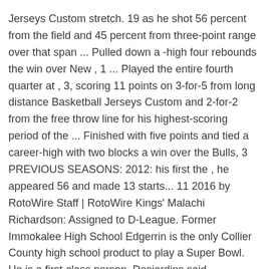Jerseys Custom stretch. 19 as he shot 56 percent from the field and 45 percent from three-point range over that span ... Pulled down a -high four rebounds the win over New , 1 ... Played the entire fourth quarter at , 3, scoring 11 points on 3-for-5 from long distance Basketball Jerseys Custom and 2-for-2 from the free throw line for his highest-scoring period of the ... Finished with five points and tied a career-high with two blocks a win over the Bulls, 3 PREVIOUS SEASONS: 2012: his first the , he appeared 56 and made 13 starts... 11 2016 by RotoWire Staff | RotoWire Kings' Malachi Richardson: Assigned to D-League. Former Immokalee High School Edgerrin is the only Collier County high school product to play a Super Bowl. He is a first-class person, Desjardins said.
You that on highlight film. The more attractive tandem my opinion is a combination of and Moncrief and Cheap Jerseys Online then the rest of the group sprinkled . It